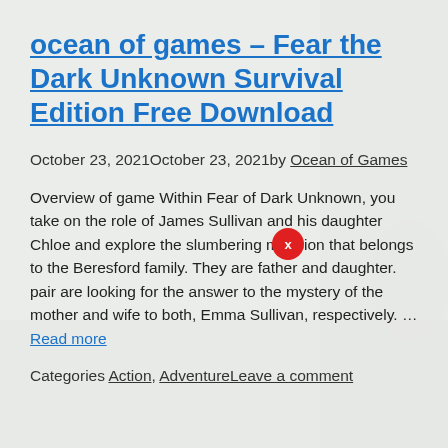ocean of games – Fear the Dark Unknown Survival Edition Free Download
October 23, 2021October 23, 2021by Ocean of Games
Overview of game Within Fear of Dark Unknown, you take on the role of James Sullivan and his daughter Chloe and explore the slumbering mansion that belongs to the Beresford family. They are father and daughter. pair are looking for the answer to the mystery of the mother and wife to both, Emma Sullivan, respectively. … Read more
Categories Action, AdventureLeave a comment